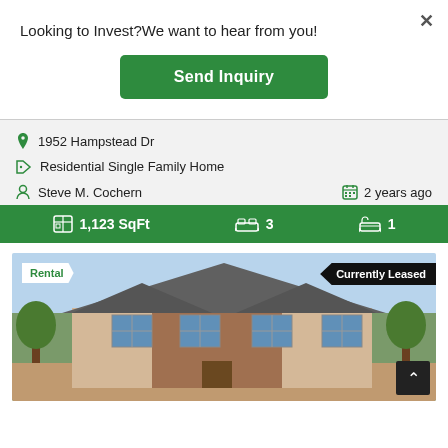Looking to Invest?We want to hear from you!
Send Inquiry
1952 Hampstead Dr
Residential Single Family Home
Steve M. Cochern
2 years ago
1,123 SqFt  3  1
[Figure (photo): Exterior photo of a two-story brick and siding single family home with a gabled roof, multiple windows, and green trees in background. Badges read 'Rental' and 'Currently Leased'.]